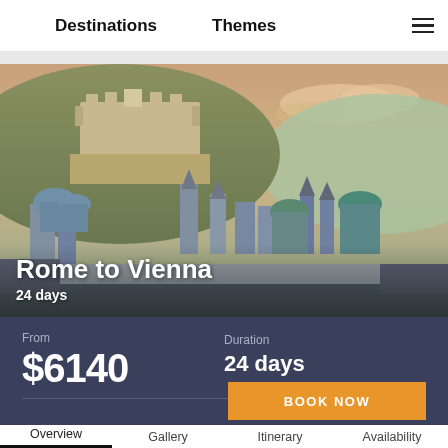Destinations   Themes
[Figure (photo): Aerial panoramic view of a European city with historic castle/fortress on hill, baroque church domes, and river in foreground — Salzburg, Austria style]
Rome to Vienna
24 days
From $6140   Duration 24 days
BOOK NOW
Overview   Gallery   Itinerary   Availability
Etepia  ▷  Rome to Vienna
Savour the good life in Italy and see the best of Austria. See northern Italy's iconic sights, quintessential landscapes and mouth-watering cuisine on this 24-day adventure. Beginning in Rome, enjoy a Renaissance revival in Florence, marvel at the Leaning Tower of Pisa and see Cinque Terre's stunning coastline.